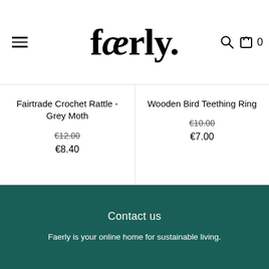faerly.
Fairtrade Crochet Rattle - Grey Moth
€12.00
€8.40
Wooden Bird Teething Ring
€10.00
€7.00
Contact us
Faerly is your online home for sustainable living.